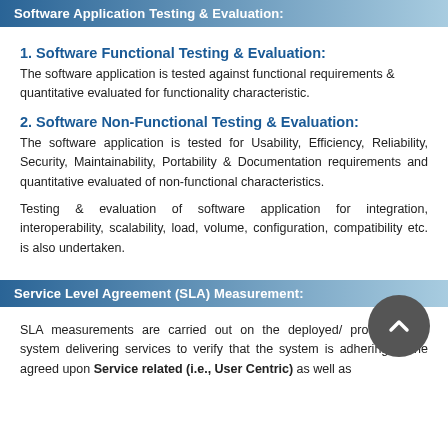Software Application Testing & Evaluation:
1. Software Functional Testing & Evaluation:
The software application is tested against functional requirements & quantitative evaluated for functionality characteristic.
2. Software Non-Functional Testing & Evaluation:
The software application is tested for Usability, Efficiency, Reliability, Security, Maintainability, Portability & Documentation requirements and quantitative evaluated of non-functional characteristics.
Testing & evaluation of software application for integration, interoperability, scalability, load, volume, configuration, compatibility etc. is also undertaken.
Service Level Agreement (SLA) Measurement:
SLA measurements are carried out on the deployed/ production IT system delivering services to verify that the system is adhering to the agreed upon Service related (i.e., User Centric) as well as